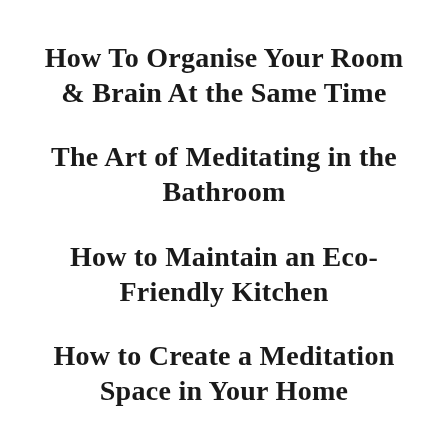How To Organise Your Room & Brain At the Same Time
The Art of Meditating in the Bathroom
How to Maintain an Eco-Friendly Kitchen
How to Create a Meditation Space in Your Home